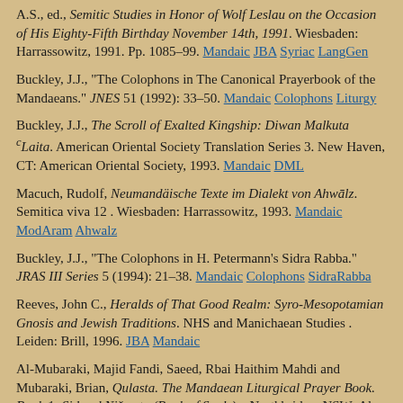A.S., ed., Semitic Studies in Honor of Wolf Leslau on the Occasion of His Eighty-Fifth Birthday November 14th, 1991. Wiesbaden: Harrassowitz, 1991. Pp. 1085–99. Mandaic JBA Syriac LangGen
Buckley, J.J., "The Colophons in The Canonical Prayerbook of the Mandaeans." JNES 51 (1992): 33–50. Mandaic Colophons Liturgy
Buckley, J.J., The Scroll of Exalted Kingship: Diwan Malkuta ᶜLaita. American Oriental Society Translation Series 3. New Haven, CT: American Oriental Society, 1993. Mandaic DML
Macuch, Rudolf, Neumandäische Texte im Dialekt von Ahwāz. Semitica viva 12 . Wiesbaden: Harrassowitz, 1993. Mandaic ModAram Ahwaz
Buckley, J.J., "The Colophons in H. Petermann's Sidra Rabba." JRAS III Series 5 (1994): 21–38. Mandaic Colophons SidraRabba
Reeves, John C., Heralds of That Good Realm: Syro-Mesopotamian Gnosis and Jewish Traditions. NHS and Manichaean Studies . Leiden: Brill, 1996. JBA Mandaic
Al-Mubaraki, Majid Fandi, Saeed, Rbai Haithim Mahdi and Mubaraki, Brian, Qulasta. The Mandaean Liturgical Prayer Book. Book 1: Sidra d Nišmata (Book of Souls). . Northbridge, NSW: Al-Mubaraki...